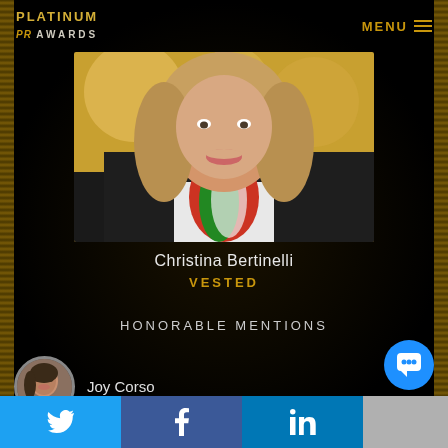PLATINUM PR AWARDS | MENU
[Figure (photo): Professional headshot of Christina Bertinelli, a woman with blonde shoulder-length hair wearing a dark blazer and colorful scarf, photographed against a blurred golden bokeh background]
Christina Bertinelli
VESTED
HONORABLE MENTIONS
[Figure (photo): Small circular avatar photo of Joy Corso]
Joy Corso
Twitter | Facebook | LinkedIn | Social share buttons